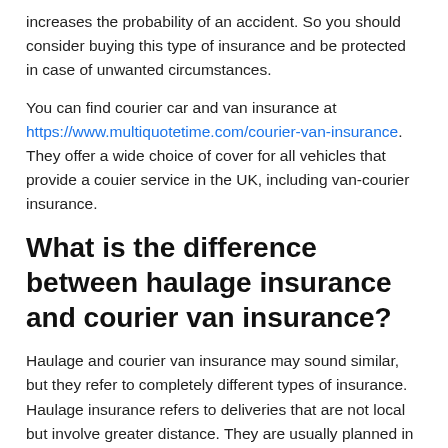increases the probability of an accident. So you should consider buying this type of insurance and be protected in case of unwanted circumstances.
You can find courier car and van insurance at https://www.multiquotetime.com/courier-van-insurance. They offer a wide choice of cover for all vehicles that provide a couier service in the UK, including van-courier insurance.
What is the difference between haulage insurance and courier van insurance?
Haulage and courier van insurance may sound similar, but they refer to completely different types of insurance. Haulage insurance refers to deliveries that are not local but involve greater distance. They are usually planned in advance and involve the transport of goods of great value. On the other hand, courier van insurance is intended for numerous deliveries on a daily basis that are more of the local type, and the goods being transported are generally of lesser value. It is